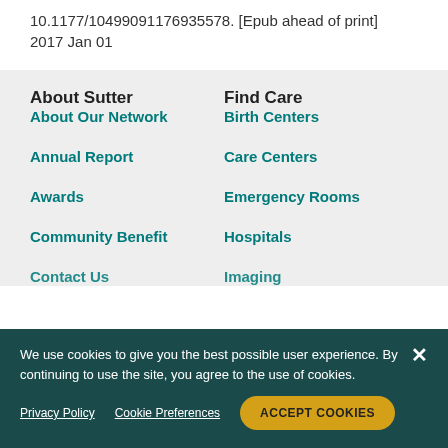10.1177/10499091176935578. [Epub ahead of print] 2017 Jan 01
About Sutter
Find Care
About Our Network
Birth Centers
Annual Report
Care Centers
Awards
Emergency Rooms
Community Benefit
Hospitals
Contact Us
Imaging
We use cookies to give you the best possible user experience. By continuing to use the site, you agree to the use of cookies.
Privacy Policy   Cookie Preferences   ACCEPT COOKIES